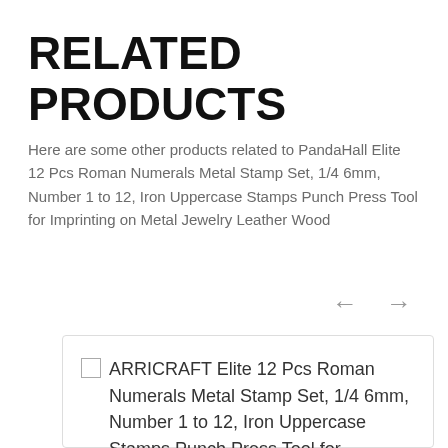RELATED PRODUCTS
Here are some other products related to PandaHall Elite 12 Pcs Roman Numerals Metal Stamp Set, 1/4 6mm, Number 1 to 12, Iron Uppercase Stamps Punch Press Tool for Imprinting on Metal Jewelry Leather Wood
← →
□ ARRICRAFT Elite 12 Pcs Roman Numerals Metal Stamp Set, 1/4 6mm, Number 1 to 12, Iron Uppercase Stamps Punch Press Tool for Imprinting on Metal